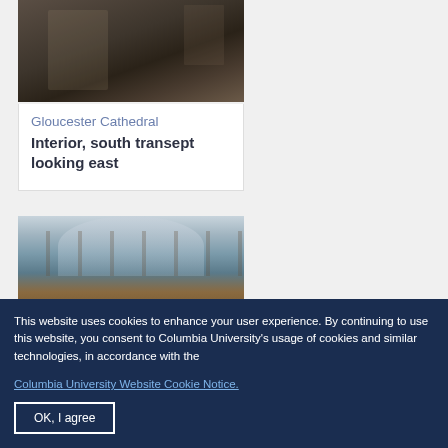[Figure (photo): Interior photograph of Gloucester Cathedral, south transept looking east — dark stone Gothic architecture with arched details and red accents]
Gloucester Cathedral
Interior, south transept looking east
[Figure (photo): Interior photograph of a Gothic cathedral nave with ribbed vaulted ceiling and arched columns, warm orange/amber lighting on left]
This website uses cookies to enhance your user experience. By continuing to use this website, you consent to Columbia University's usage of cookies and similar technologies, in accordance with the Columbia University Website Cookie Notice.
OK, I agree